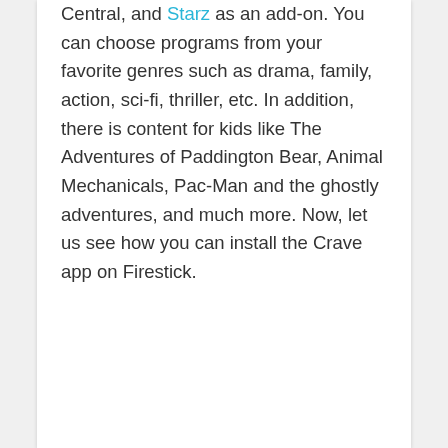Central, and Starz as an add-on. You can choose programs from your favorite genres such as drama, family, action, sci-fi, thriller, etc. In addition, there is content for kids like The Adventures of Paddington Bear, Animal Mechanicals, Pac-Man and the ghostly adventures, and much more. Now, let us see how you can install the Crave app on Firestick.